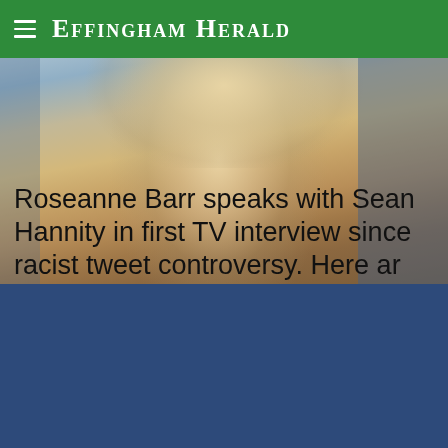Effingham Herald
[Figure (photo): Photo of a blonde woman (Roseanne Barr) with a blurred background, blue/teal tones on right side]
Roseanne Barr speaks with Sean Hannity in first TV interview since racist tweet controversy. Here ar
[Figure (photo): Solid dark blue rectangle, appears to be a loading placeholder or partially loaded image]